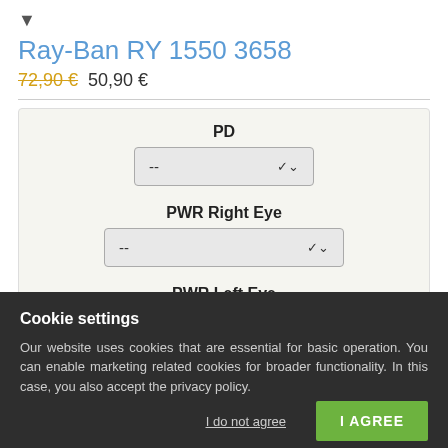Ray-Ban RY 1550 3658
72,90 € 50,90 €
PD
PWR Right Eye
PWR Left Eye
Cookie settings
Our website uses cookies that are essential for basic operation. You can enable marketing related cookies for broader functionality. In this case, you also accept the privacy policy.
I do not agree
I AGREE